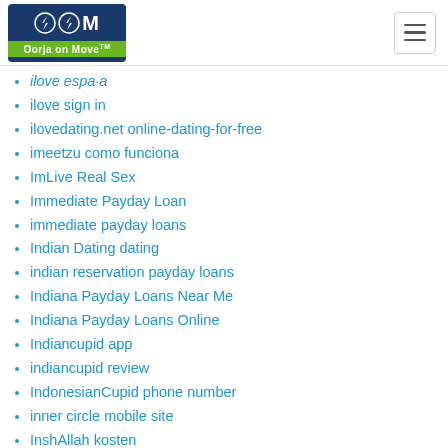Oorja on Move
ilove españa
ilove sign in
ilovedating.net online-dating-for-free
imeetzu como funciona
ImLive Real Sex
Immediate Payday Loan
immediate payday loans
Indian Dating dating
indian reservation payday loans
Indiana Payday Loans Near Me
Indiana Payday Loans Online
Indiancupid app
indiancupid review
IndonesianCupid phone number
inner circle mobile site
InshAllah kosten